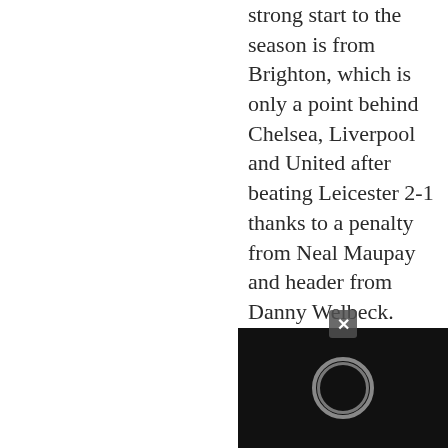strong start to the season is from Brighton, which is only a point behind Chelsea, Liverpool and United after beating Leicester 2-1 thanks to a penalty from Neal Maupay and header from Danny Welbeck.
Jamie Vardy pulled one back in the 61st with his 150th goal for Leicester on his 250th Premier League appearance, while the visitors had potential equalizers ruled out for offside and obstruction.